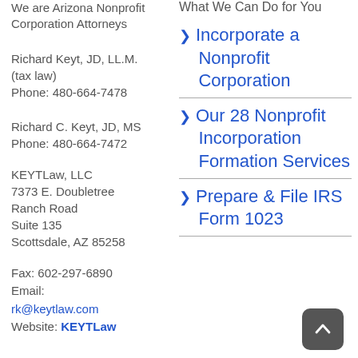We are Arizona Nonprofit Corporation Attorneys
Richard Keyt, JD, LL.M. (tax law)
Phone: 480-664-7478
Richard C. Keyt, JD, MS
Phone: 480-664-7472
KEYTLaw, LLC
7373 E. Doubletree Ranch Road
Suite 135
Scottsdale, AZ 85258
Fax: 602-297-6890
Email:
rk@keytlaw.com
Website: KEYTLaw
What We Can Do for You
Incorporate a Nonprofit Corporation
Our 28 Nonprofit Incorporation Formation Services
Prepare & File IRS Form 1023